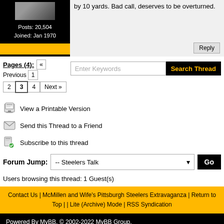Posts: 20,504
Joined: Jan 1970
by 10 yards. Bad call, deserves to be overturned.
Pages (4): « Previous 1 2 3 4 Next »
Enter Keywords
View a Printable Version
Send this Thread to a Friend
Subscribe to this thread
Forum Jump: -- Steelers Talk
Users browsing this thread: 1 Guest(s)
Contact Us | McMillen and Wife's Pittsburgh Steelers Extravaganza | Return to Top | | Lite (Archive) Mode | RSS Syndication
Powered By MyBB, © 2002-2022 MyBB Group.
STB created by forum młodzieżowe